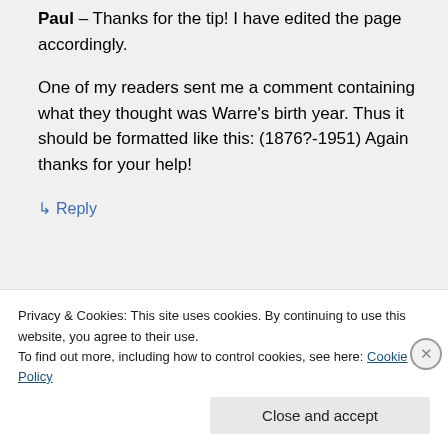Paul – Thanks for the tip! I have edited the page accordingly.

One of my readers sent me a comment containing what they thought was Warre's birth year. Thus it should be formatted like this: (1876?-1951) Again thanks for your help!
↳ Reply
Privacy & Cookies: This site uses cookies. By continuing to use this website, you agree to their use.
To find out more, including how to control cookies, see here: Cookie Policy
Close and accept